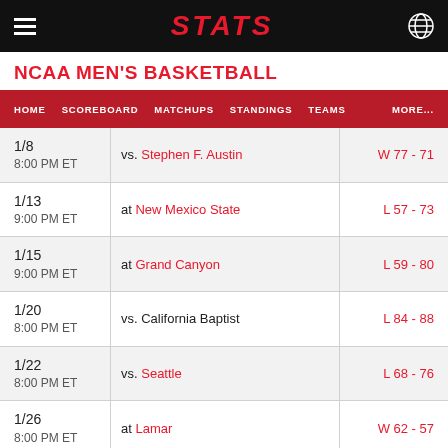STATS
NCAA MEN'S BASKETBALL
| Date | Matchup | Result |
| --- | --- | --- |
| 1/8
8:00 PM ET | vs. Stephen F. Austin | W 77 - 71 |
| 1/13
9:00 PM ET | at New Mexico State | L 57 - 73 |
| 1/15
9:00 PM ET | at Grand Canyon | L 59 - 80 |
| 1/20
8:00 PM ET | vs. California Baptist | L 84 - 88 |
| 1/22
8:00 PM ET | vs. Seattle | L 68 - 76 |
| 1/26
8:00 PM ET | at Lamar | W 62 - 57 |
| 1/29
8:00 PM ET | at Texas-Pan American | W 79 - 64 |